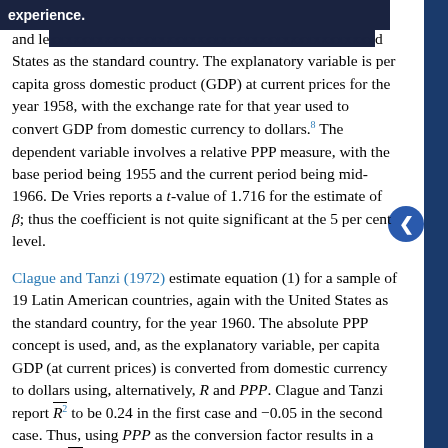and led [text obscured] United States as the standard country. The explanatory variable is per capita gross domestic product (GDP) at current prices for the year 1958, with the exchange rate for that year used to convert GDP from domestic currency to dollars.8 The dependent variable involves a relative PPP measure, with the base period being 1955 and the current period being mid-1966. De Vries reports a t-value of 1.716 for the estimate of β; thus the coefficient is not quite significant at the 5 per cent level.
Clague and Tanzi (1972) estimate equation (1) for a sample of 19 Latin American countries, again with the United States as the standard country, for the year 1960. The absolute PPP concept is used, and, as the explanatory variable, per capita GDP (at current prices) is converted from domestic currency to dollars using, alternatively, R and PPP. Clague and Tanzi report R̄² to be 0.24 in the first case and −0.05 in the second case. Thus, using PPP as the conversion factor results in a negative R̄², that is, in a t-value below unity for the